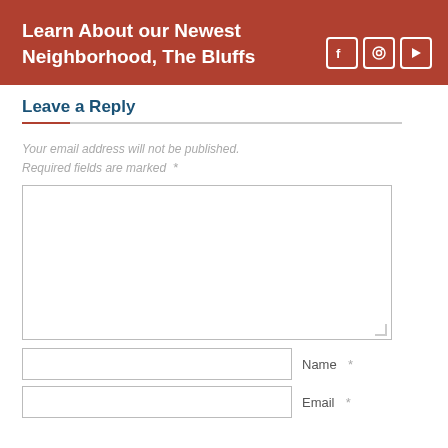Learn About our Newest Neighborhood, The Bluffs
Leave a Reply
Your email address will not be published.
Required fields are marked *
[Figure (screenshot): Comment textarea input field]
Name *
Email *